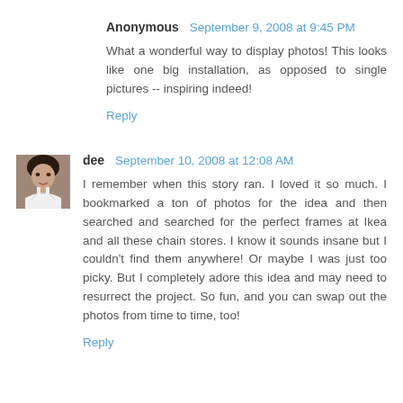Anonymous  September 9, 2008 at 9:45 PM
What a wonderful way to display photos! This looks like one big installation, as opposed to single pictures -- inspiring indeed!
Reply
[Figure (photo): Avatar photo of user 'dee', a woman in a white tank top]
dee  September 10, 2008 at 12:08 AM
I remember when this story ran. I loved it so much. I bookmarked a ton of photos for the idea and then searched and searched for the perfect frames at Ikea and all these chain stores. I know it sounds insane but I couldn't find them anywhere! Or maybe I was just too picky. But I completely adore this idea and may need to resurrect the project. So fun, and you can swap out the photos from time to time, too!
Reply